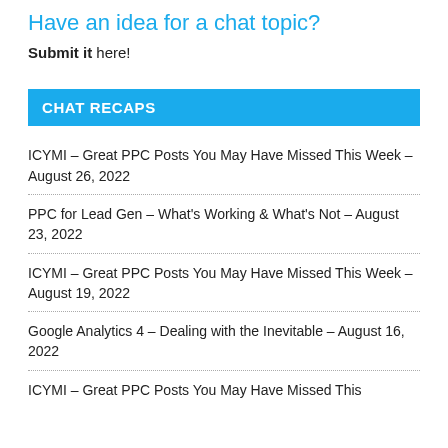Have an idea for a chat topic?
Submit it here!
CHAT RECAPS
ICYMI – Great PPC Posts You May Have Missed This Week – August 26, 2022
PPC for Lead Gen – What's Working & What's Not – August 23, 2022
ICYMI – Great PPC Posts You May Have Missed This Week – August 19, 2022
Google Analytics 4 – Dealing with the Inevitable – August 16, 2022
ICYMI – Great PPC Posts You May Have Missed This